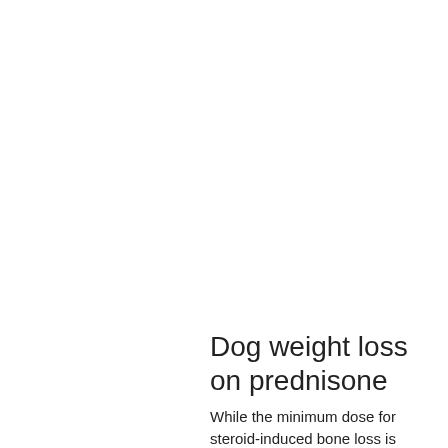Dog weight loss on prednisone
While the minimum dose for steroid-induced bone loss is unknown, reduced bone density and fractures have occurred